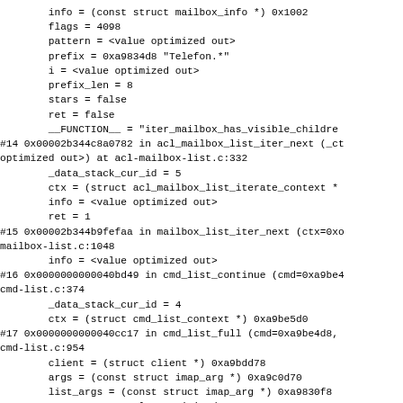info = (const struct mailbox_info *) 0x1002
        flags = 4098
        pattern = <value optimized out>
        prefix = 0xa9834d8 "Telefon.*"
        i = <value optimized out>
        prefix_len = 8
        stars = false
        ret = false
        __FUNCTION__ = "iter_mailbox_has_visible_childre
#14 0x00002b344c8a0782 in acl_mailbox_list_iter_next (_ct
optimized out>) at acl-mailbox-list.c:332
        _data_stack_cur_id = 5
        ctx = (struct acl_mailbox_list_iterate_context *
        info = <value optimized out>
        ret = 1
#15 0x00002b344b9fefaa in mailbox_list_iter_next (ctx=0xo
mailbox-list.c:1048
        info = <value optimized out>
#16 0x0000000000040bd49 in cmd_list_continue (cmd=0xa9be4
cmd-list.c:374
        _data_stack_cur_id = 4
        ctx = (struct cmd_list_context *) 0xa9be5d0
#17 0x0000000000040cc17 in cmd_list_full (cmd=0xa9be4d8, 
cmd-list.c:954
        client = (struct client *) 0xa9bdd78
        args = (const struct imap_arg *) 0xa9c0d70
        list_args = (const struct imap_arg *) 0xa9830f8
        arg_count = <value optimized out>
        ctx = (struct cmd_list_context *) 0xa9be5d0
        patterns = {arr = {buffer = 0xa9be620, element_s